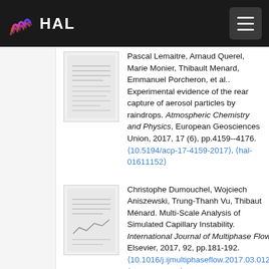HAL
Pascal Lemaitre, Arnaud Querel, Marie Monier, Thibault Menard, Emmanuel Porcheron, et al.. Experimental evidence of the rear capture of aerosol particles by raindrops. Atmospheric Chemistry and Physics, European Geosciences Union, 2017, 17 (6), pp.4159--4176. ⟨10.5194/acp-17-4159-2017⟩. ⟨hal-01611152⟩
Christophe Dumouchel, Wojciech Aniszewski, Trung-Thanh Vu, Thibaut Ménard. Multi-Scale Analysis of Simulated Capillary Instability. International Journal of Multiphase Flow, Elsevier, 2017, 92, pp.181-192. ⟨10.1016/j.ijmultiphaseflow.2017.03.012⟩. ⟨hal-01494475⟩
Christophe Dumouchel, Thibaut Ménard, Wojciech Aniszewski. Towards an interpretation of the scale diffusivity in liquid atomization process: An experimental approach. Physica A: Statistical Mechanics and its Applications, Elsevier, 2015, 438, pp.612--624.